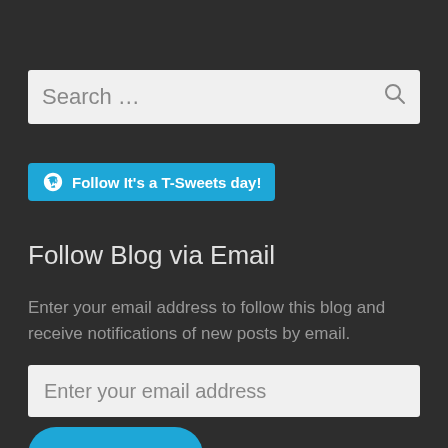Search …
Follow It's a T-Sweets day!
Follow Blog via Email
Enter your email address to follow this blog and receive notifications of new posts by email.
Enter your email address
FOLLOW